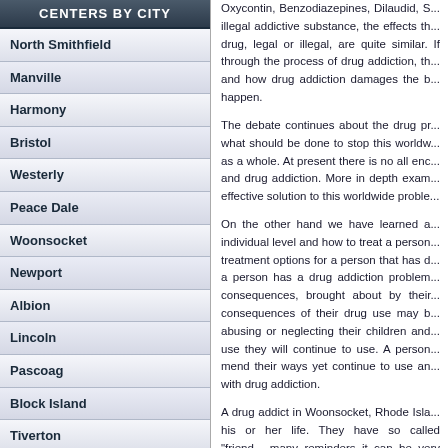CENTERS BY CITY
North Smithfield
Manville
Harmony
Bristol
Westerly
Peace Dale
Woonsocket
Newport
Albion
Lincoln
Pascoag
Block Island
Tiverton
Portsmouth
Foster
West Warwick
East Providence
Oxycontin, Benzodiazepines, Dilaudid, S... illegal addictive substance, the effects th... drug, legal or illegal, are quite similar. If through the process of drug addiction, th... and how drug addiction damages the b... happen.
The debate continues about the drug pr... what should be done to stop this worldw... as a whole. At present there is no all enc... and drug addiction. More in depth exam... effective solution to this worldwide proble...
On the other hand we have learned a... individual level and how to treat a person... treatment options for a person that has d... a person has a drug addiction problem... consequences, brought about by their... consequences of their drug use may b... abusing or neglecting their children and... use they will continue to use. A person... mend their ways yet continue to use an... with drug addiction.
A drug addict in Woonsocket, Rhode Isla... his or her life. They have so called "friend... many reminders it can be very difficult for...
For a person in Woonsocket, RI. that... therapeutic decisions one could make an... make it a considerable distance from Wo... 90 days or however long it takes to reme... their new life as a drug free person. Pr...